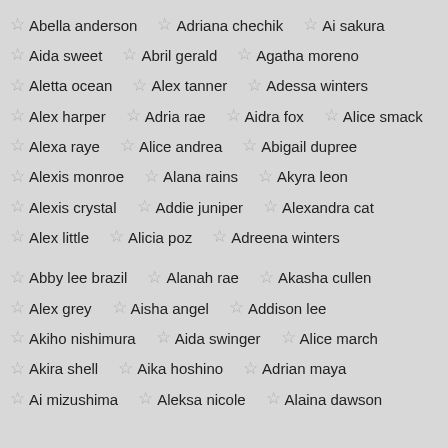Abella anderson
Adriana chechik
Ai sakura
Aida sweet
Abril gerald
Agatha moreno
Aletta ocean
Alex tanner
Adessa winters
Alex harper
Adria rae
Aidra fox
Alice smack
Alexa raye
Alice andrea
Abigail dupree
Alexis monroe
Alana rains
Akyra leon
Alexis crystal
Addie juniper
Alexandra cat
Alex little
Alicia poz
Adreena winters
Abby lee brazil
Alanah rae
Akasha cullen
Alex grey
Aisha angel
Addison lee
Akiho nishimura
Aida swinger
Alice march
Akira shell
Aika hoshino
Adrian maya
Ai mizushima
Aleksa nicole
Alaina dawson